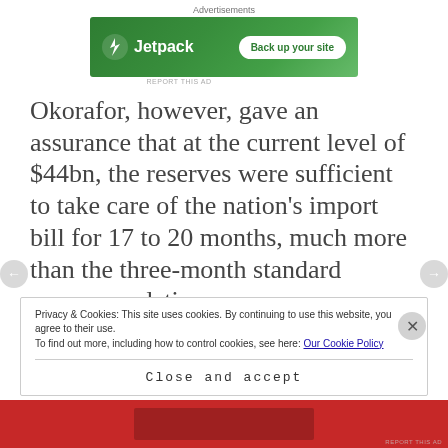Advertisements
[Figure (other): Jetpack advertisement banner with green background, Jetpack logo on left and 'Back up your site' button on right]
Okorafor, however, gave an assurance that at the current level of $44bn, the reserves were sufficient to take care of the nation's import bill for 17 to 20 months, much more than the three-month standard recommendation.
Privacy & Cookies: This site uses cookies. By continuing to use this website, you agree to their use.
To find out more, including how to control cookies, see here: Our Cookie Policy
Close and accept